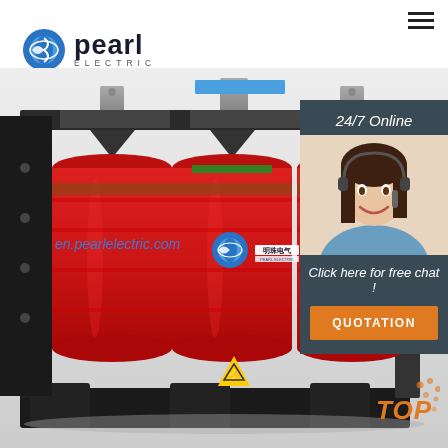[Figure (logo): Pearl Electric logo with blue circular icon and text]
[Figure (photo): Industrial dry-type transformer with red coil windings and black frame, Pearl Electric branding, three-phase unit shown from front]
24/7 Online
[Figure (photo): Customer service agent woman wearing headset, smiling]
Click here for free chat !
QUOTATION
en.pearlelectric.com
TOP